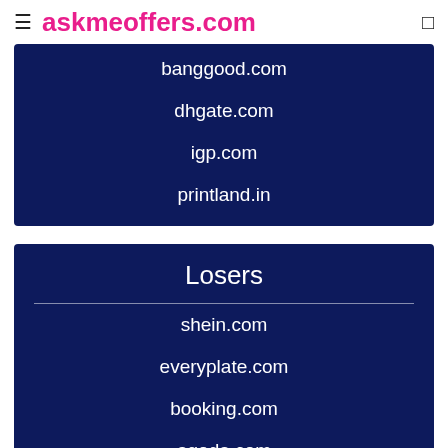≡ askmeoffers.com
banggood.com
dhgate.com
igp.com
printland.in
Losers
shein.com
everyplate.com
booking.com
agoda.com
airportparkingreservations.com
Related St...